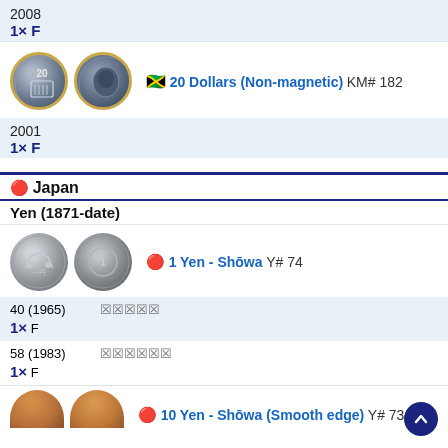2008
1× F
[Figure (photo): Two Jamaican 20 Dollar coins (obverse and reverse), bimetallic]
🇯🇲 20 Dollars (Non-magnetic) KM# 182
2001
1× F
🔴 Japan
Yen (1871-date)
[Figure (photo): Two Japanese 1 Yen Showa coins (obverse and reverse)]
🔴 1 Yen - Shōwa Y# 74
40 (1965)   昭和四十年
1× F
58 (1983)   昭和五十八年
1× F
[Figure (photo): Partial view of two Japanese 10 Yen Showa coins (copper)]
🔴 10 Yen - Shōwa (Smooth edge) Y# 73a